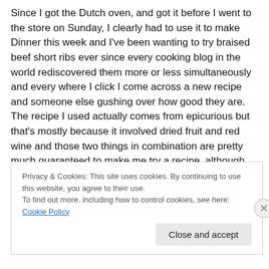Since I got the Dutch oven, and got it before I went to the store on Sunday, I clearly had to use it to make Dinner this week and I've been wanting to try braised beef short ribs ever since every cooking blog in the world rediscovered them more or less simultaneously and every where I click I come across a new recipe and someone else gushing over how good they are.  The recipe I used actually comes from epicurious but that's mostly because it involved dried fruit and red wine and those two things in combination are pretty much guaranteed to make me try a recipe, although
Privacy & Cookies: This site uses cookies. By continuing to use this website, you agree to their use.
To find out more, including how to control cookies, see here: Cookie Policy
Close and accept